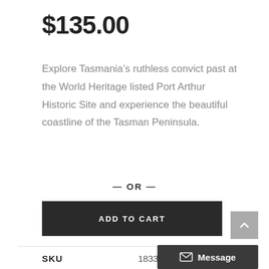$135.00
Explore Tasmania’s ruthless convict past at the World Heritage listed Port Arthur Historic Site and experience the beautiful coastline of the Tasman Peninsula.
— OR —
ADD TO CART
SKU	18338
Message